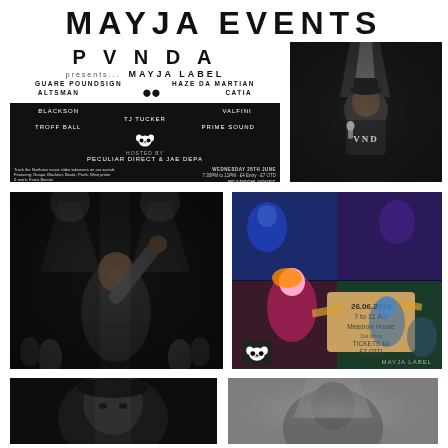MAYJA EVENTS
[Figure (illustration): PVNDA event flyer - Mayja Label, listing artists: GUADE FOUNDATION, HAZE DA MARTIAN, ALTSMAN, CATIA, BLACKSON, VALFINI, TJ TUCKER, TROFF BALL, PRIME SOUND, hosted by PECULIAR DIRECT & JAE DEPA. Wednesday 26th June, 7PM-11PM, Meadrow House. Panda logo icon.]
[Figure (photo): Black and white photo of a female performer on stage wearing VND hoodie, holding microphone]
[Figure (photo): Black and white photo of a performer on stage raising hand to crowd]
[Figure (photo): Colorful collage of performers with event date 26.06.2019, 7 to 11 PM, Meadrow House, 1st 6hrs Tickets £4 / £7 OTD, Mayja Label panda logo]
[Figure (photo): Black and white close-up photo of a performer]
[Figure (photo): Black and white photo of a performer]